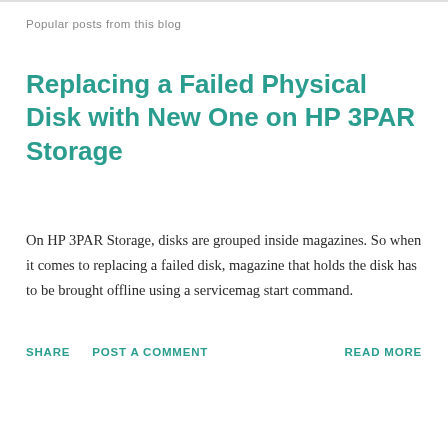Popular posts from this blog
Replacing a Failed Physical Disk with New One on HP 3PAR Storage
On HP 3PAR Storage, disks are grouped inside magazines. So when it comes to replacing a failed disk, magazine that holds the disk has to be brought offline using a servicemag start command.
SHARE   POST A COMMENT   READ MORE